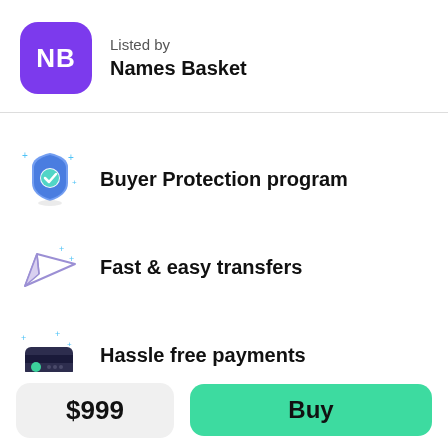[Figure (logo): Purple rounded square logo with white letters NB]
Listed by
Names Basket
Buyer Protection program
Fast & easy transfers
Hassle free payments
$999
Buy